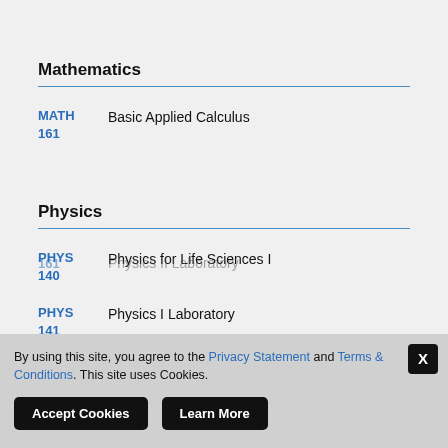Mathematics
MATH 161 Basic Applied Calculus
Physics
PHYS 140 Physics for Life Sciences I
PHYS 141 Physics I Laboratory
By using this site, you agree to the Privacy Statement and Terms & Conditions. This site uses Cookies.
Accept Cookies  Learn More